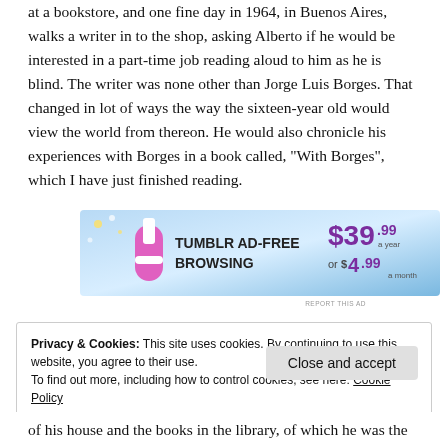at a bookstore, and one fine day in 1964, in Buenos Aires, walks a writer in to the shop, asking Alberto if he would be interested in a part-time job reading aloud to him as he is blind. The writer was none other than Jorge Luis Borges. That changed in lot of ways the way the sixteen-year old would view the world from thereon. He would also chronicle his experiences with Borges in a book called, "With Borges", which I have just finished reading.
[Figure (other): Tumblr Ad-Free Browsing advertisement banner: $39.99 a year or $4.99 a month]
Privacy & Cookies: This site uses cookies. By continuing to use this website, you agree to their use.
To find out more, including how to control cookies, see here: Cookie Policy
of his house and the books in the library, of which he was the